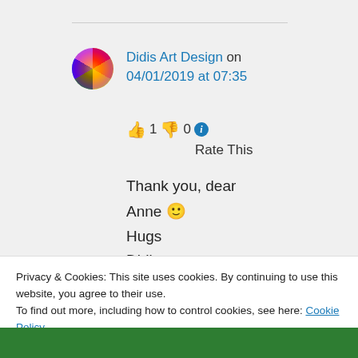Didis Art Design on 04/01/2019 at 07:35
👍 1 👎 0 ℹ Rate This
Thank you, dear
Anne 🙂
Hugs
Didi
Privacy & Cookies: This site uses cookies. By continuing to use this website, you agree to their use.
To find out more, including how to control cookies, see here: Cookie Policy
Close and accept